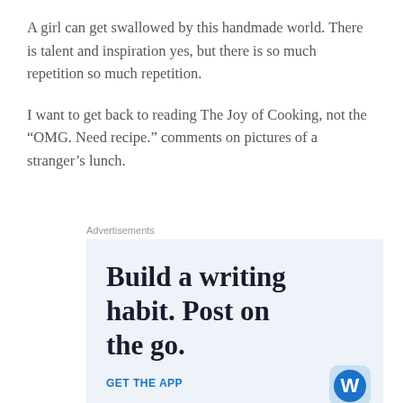A girl can get swallowed by this handmade world. There is talent and inspiration yes, but there is so much repetition so much repetition.
I want to get back to reading The Joy of Cooking, not the “OMG. Need recipe.” comments on pictures of a stranger’s lunch.
Advertisements
[Figure (infographic): WordPress advertisement box with light blue background. Large serif text reads 'Build a writing habit. Post on the go.' Below is a 'GET THE APP' call-to-action link in blue and a WordPress logo icon (blue W in rounded square).]